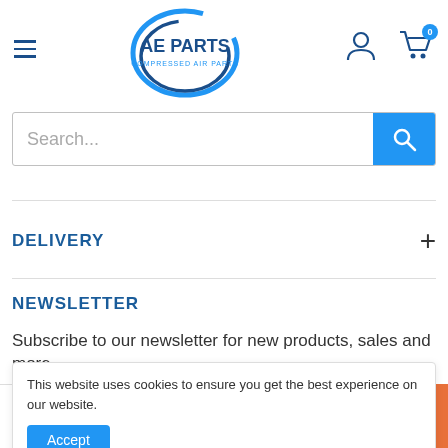[Figure (logo): AE Parts Compressed Air Parts logo with blue oval/swoosh design]
Search...
DELIVERY
NEWSLETTER
Subscribe to our newsletter for new products, sales and more
This website uses cookies to ensure you get the best experience on our website.
Accept